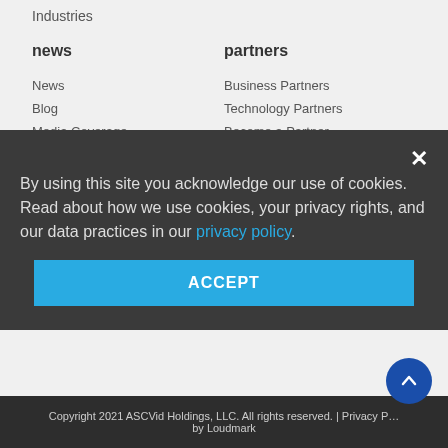Industries
news
partners
News
Blog
Media Coverage
Press Releases
Business Partners
Technology Partners
Become a Partner
company
About
Contact Us
Awards
By using this site you acknowledge our use of cookies. Read about how we use cookies, your privacy rights, and our data practices in our privacy policy.
ACCEPT
Copyright 2021 ASCVid Holdings, LLC. All rights reserved. | Privacy Policy by Loudmark